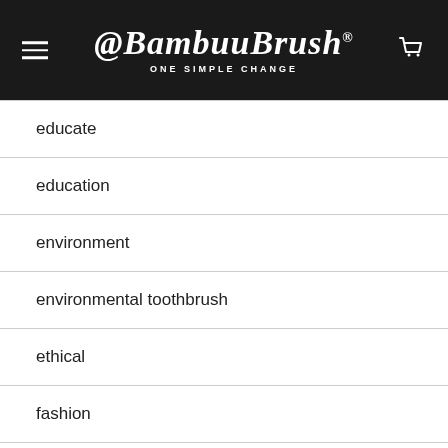@BambuuBrush® ONE SIMPLE CHANGE
educate
education
environment
environmental toothbrush
ethical
fashion
fast fashion